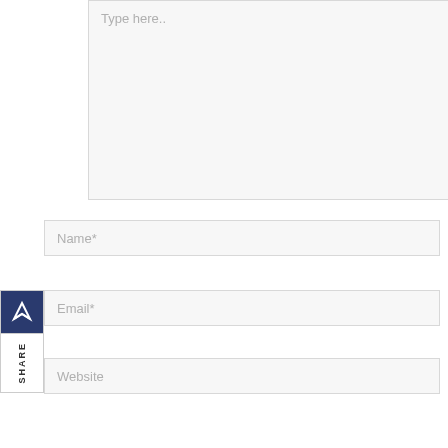[Figure (screenshot): A text area input field with placeholder text 'Type here..' and a resize handle at bottom-right corner, with light gray background and border]
Name*
Email*
Website
[Figure (screenshot): Share sidebar widget with Lyft/app logo icon, SHARE label rotated vertically, Twitter bird icon button in blue, and LinkedIn icon button in blue]